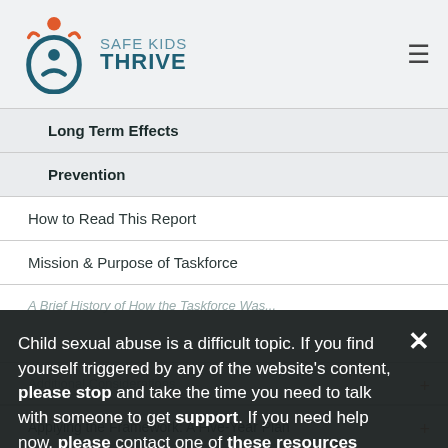SAFE KIDS THRIVE
Long Term Effects
Prevention
How to Read This Report
Mission & Purpose of Taskforce
A Brief History of How the Taskforce Was...
Child sexual abuse is a difficult topic. If you find yourself triggered by any of the website's content, please stop and take the time you need to talk with someone to get support. If you need help now, please contact one of these resources today.
Additional Considerations
Applying the Framework: A Five-Year Plan